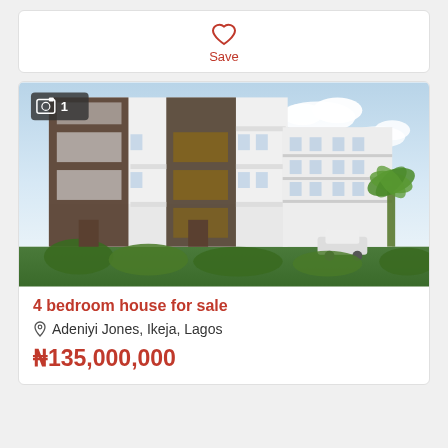[Figure (other): Heart/save icon with Save label below it, red outline heart icon]
[Figure (photo): Modern multi-storey apartment building for sale, 4-bedroom house in Adeniyi Jones, Ikeja, Lagos. Building has white and dark brown facade with balconies, surrounded by greenery. Camera badge showing '1' photo in top left corner.]
4 bedroom house for sale
Adeniyi Jones, Ikeja, Lagos
₦135,000,000